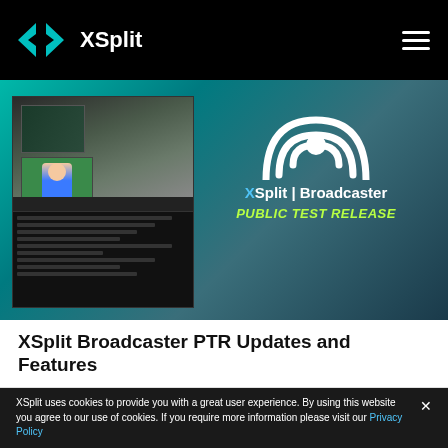XSplit
[Figure (screenshot): XSplit Broadcaster Public Test Release banner with broadcast signal icon and gameplay screenshot on teal/dark background]
XSplit Broadcaster PTR Updates and Features
XSplit uses cookies to provide you with a great user experience. By using this website you agree to our use of cookies. If you require more information please visit our Privacy Policy